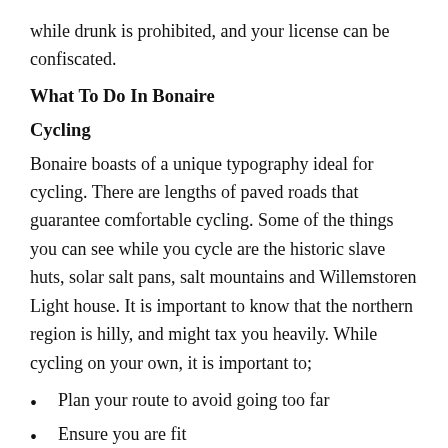while drunk is prohibited, and your license can be confiscated.
What To Do In Bonaire
Cycling
Bonaire boasts of a unique typography ideal for cycling. There are lengths of paved roads that guarantee comfortable cycling. Some of the things you can see while you cycle are the historic slave huts, solar salt pans, salt mountains and Willemstoren Light house. It is important to know that the northern region is hilly, and might tax you heavily. While cycling on your own, it is important to;
Plan your route to avoid going too far
Ensure you are fit
Be in comfortable cycling attire and also carry some sun block
Carry plenty of water